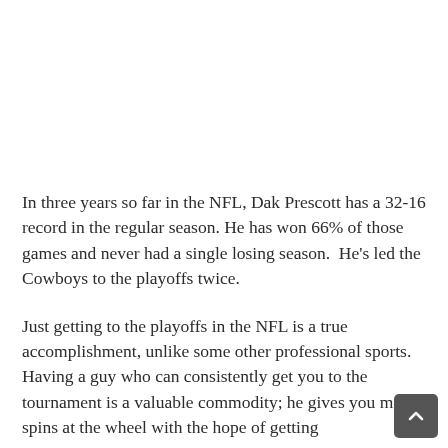In three years so far in the NFL, Dak Prescott has a 32-16 record in the regular season. He has won 66% of those games and never had a single losing season.  He's led the Cowboys to the playoffs twice.
Just getting to the playoffs in the NFL is a true accomplishment, unlike some other professional sports. Having a guy who can consistently get you to the tournament is a valuable commodity; he gives you more spins at the wheel with the hope of getting